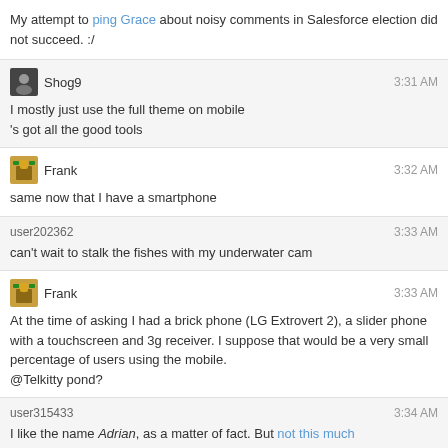My attempt to ping Grace about noisy comments in Salesforce election did not succeed. :/
Shog9 3:31 AM
I mostly just use the full theme on mobile
's got all the good tools
Frank 3:32 AM
same now that I have a smartphone
user202362 3:33 AM
can't wait to stalk the fishes with my underwater cam
Frank 3:33 AM
At the time of asking I had a brick phone (LG Extrovert 2), a slider phone with a touchscreen and 3g receiver. I suppose that would be a very small percentage of users using the mobile.
@Telkitty pond?
user315433 3:34 AM
I like the name Adrian, as a matter of fact. But not this much
Frank 3:35 AM
I want to get an inverted fish tank
[Figure (photo): Photo of an inverted fish tank/aquarium placed outdoors in a garden with green plants and grass visible in the background. Goldfish visible inside the tank.]